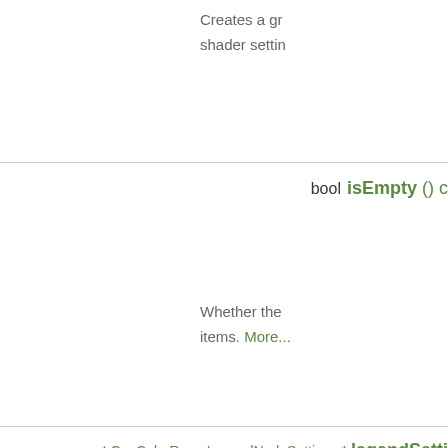Creates a gr... shader settin...
bool isEmpty () c
Whether the ... items. More...
const QgsColorRampLegendNodeSettings * legendSetti...
Returns the c... settings. Mor...
void legendSymb... QPair< QStri... &symbolItem...
Returns lege... provided by r...